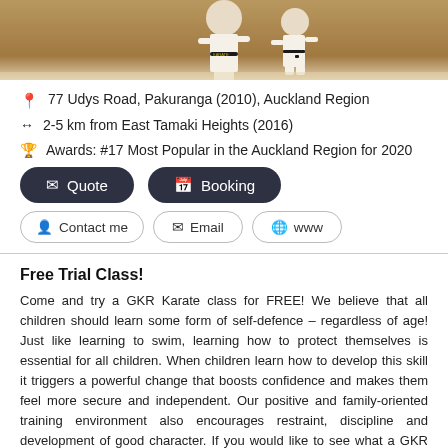[Figure (photo): Karate practitioners in white gi uniforms with black belt, in a dojo setting]
📍 77 Udys Road, Pakuranga (2010), Auckland Region
↔ 2-5 km from East Tamaki Heights (2016)
🏆 Awards: #17 Most Popular in the Auckland Region for 2020
✉ Quote   📅 Booking
👤 Contact me   ✉ Email   🌐 www
Free Trial Class!
Come and try a GKR Karate class for FREE! We believe that all children should learn some form of self-defence – regardless of age! Just like learning to swim, learning how to protect themselves is essential for all children. When children learn how to develop this skill it triggers a powerful change that boosts confidence and makes them feel more secure and independent. Our positive and family-oriented training environment also encourages restraint, discipline and development of good character. If you would like to see what a GKR Karate class is all about, we would like to invite you to come and try a free class! No equipment or uniform is necessary and our welcoming and family friendly environment will help you to get the most out of your trial class.